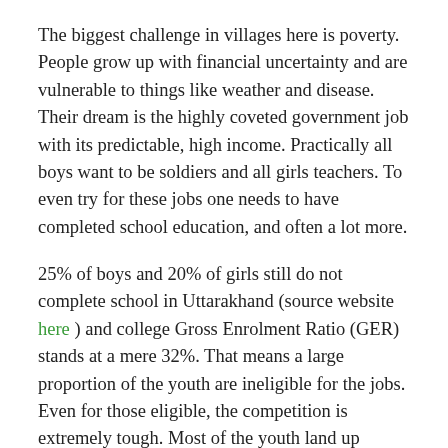The biggest challenge in villages here is poverty. People grow up with financial uncertainty and are vulnerable to things like weather and disease. Their dream is the highly coveted government job with its predictable, high income. Practically all boys want to be soldiers and all girls teachers. To even try for these jobs one needs to have completed school education, and often a lot more.
25% of boys and 20% of girls still do not complete school in Uttarakhand (source website here ) and college Gross Enrolment Ratio (GER) stands at a mere 32%. That means a large proportion of the youth are ineligible for the jobs. Even for those eligible, the competition is extremely tough. Most of the youth land up picking small jobs around here, and many of the young men head to the city.